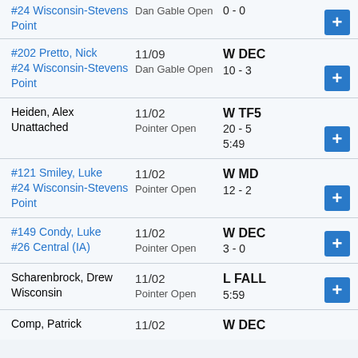#24 Wisconsin-Stevens Point | Dan Gable Open | 0 - 0
#202 Pretto, Nick | #24 Wisconsin-Stevens Point | 11/09 | Dan Gable Open | W DEC | 10 - 3
Heiden, Alex | Unattached | 11/02 | Pointer Open | W TF5 | 20 - 5 | 5:49
#121 Smiley, Luke | #24 Wisconsin-Stevens Point | 11/02 | Pointer Open | W MD | 12 - 2
#149 Condy, Luke | #26 Central (IA) | 11/02 | Pointer Open | W DEC | 3 - 0
Scharenbrock, Drew | Wisconsin | 11/02 | Pointer Open | L FALL | 5:59
Comp, Patrick | 11/02 | W DEC